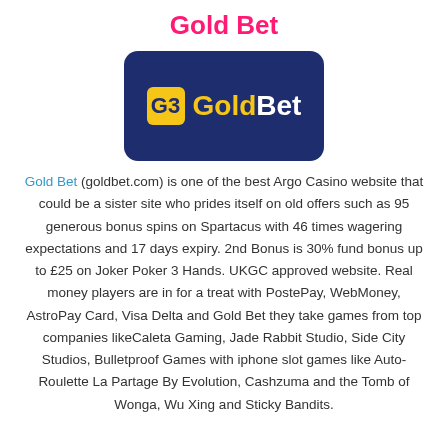Gold Bet
[Figure (logo): GoldBet logo — dark navy rounded rectangle with yellow 'G3' icon and 'GoldBet' text in yellow and white]
Gold Bet (goldbet.com) is one of the best Argo Casino website that could be a sister site who prides itself on old offers such as 95 generous bonus spins on Spartacus with 46 times wagering expectations and 17 days expiry. 2nd Bonus is 30% fund bonus up to £25 on Joker Poker 3 Hands. UKGC approved website. Real money players are in for a treat with PostePay, WebMoney, AstroPay Card, Visa Delta and Gold Bet they take games from top companies likeCaleta Gaming, Jade Rabbit Studio, Side City Studios, Bulletproof Games with iphone slot games like Auto-Roulette La Partage By Evolution, Cashzuma and the Tomb of Wonga, Wu Xing and Sticky Bandits.